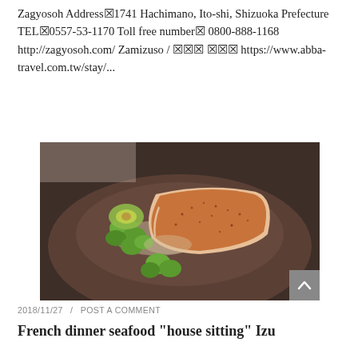Zagyosoh Address✕1741 Hachimano, Ito-shi, Shizuoka Prefecture TEL✕0557-53-1170 Toll free number✕0800-888-1168 http://zagyosoh.com/ Zamizuso / ✕✕✕✕✕✕ https://www.abba-travel.com.tw/stay/...
[Figure (photo): A plated French seafood dish on a dark stone/ceramic plate: a piece of pan-seared fish fillet with spiced/seasoned crust, accompanied by green vegetable pieces and a light sauce or powder, artistically arranged.]
2018/11/27  /  POST A COMMENT
French dinner seafood "house sitting" Izu